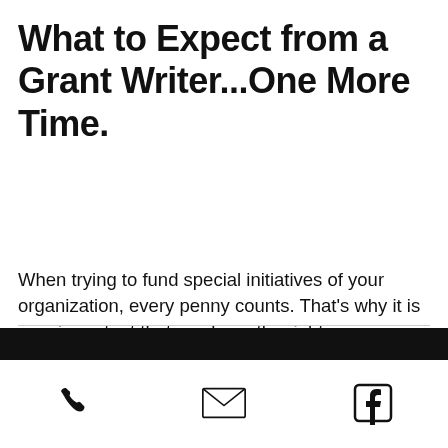What to Expect from a Grant Writer...One More Time.
When trying to fund special initiatives of your organization, every penny counts. That's why it is very important that you have the right resources to ensure your best chance at success...A good grant writer is one of those resources. In 2015 I shared a blog post about what to expect from a grant writer...I want to re-share this with everyone today. Reason being is during the month of January we have discussed key components to include in grant proposals, elements of the ca
[Figure (other): Mobile app footer bar with dark strip and three icons: phone, email, Facebook]